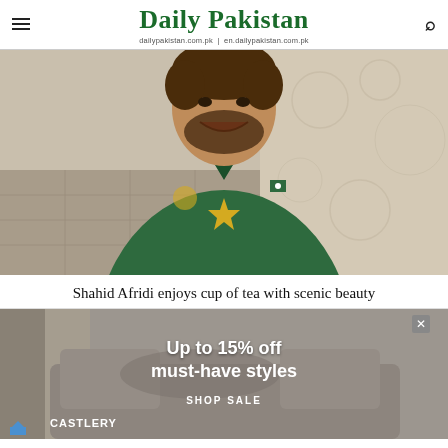Daily Pakistan
dailypakistan.com.pk | en.dailypakistan.com.pk
[Figure (photo): Shahid Afridi in a green Pakistan cricket jersey smiling, in front of a decorative wallpaper background]
Shahid Afridi enjoys cup of tea with scenic beauty
[Figure (photo): Advertisement overlay for Castlery furniture sale: 'Up to 15% off must-have styles SHOP SALE' with sofa image background]